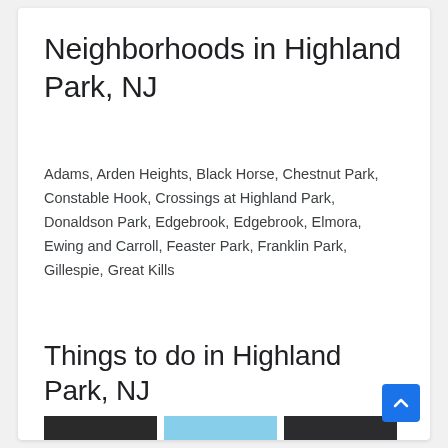Neighborhoods in Highland Park, NJ
Adams, Arden Heights, Black Horse, Chestnut Park, Constable Hook, Crossings at Highland Park, Donaldson Park, Edgebrook, Edgebrook, Elmora, Ewing and Carroll, Feaster Park, Franklin Park, Gillespie, Great Kills
Things to do in Highland Park, NJ
[Figure (photo): Three thumbnail photos showing local places and activities in Highland Park, NJ]